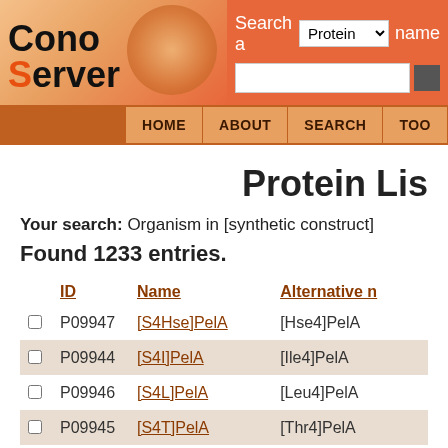[Figure (logo): ConoServer logo with stylized text and circular decorative element on orange gradient background]
Search a Protein name | Home | About | Search | Tools
Protein List
Your search: Organism in [synthetic construct]
Found 1233 entries.
|  | ID | Name | Alternative name |
| --- | --- | --- | --- |
|  | P09947 | [S4Hse]PelA | [Hse4]PelA |
|  | P09944 | [S4I]PelA | [Ile4]PelA |
|  | P09946 | [S4L]PelA | [Leu4]PelA |
|  | P09945 | [S4T]PelA | [Thr4]PelA |
|  | P09943 | [S4V]PelA | [Val4]PelA |
|  | P04952 | ... | ... |